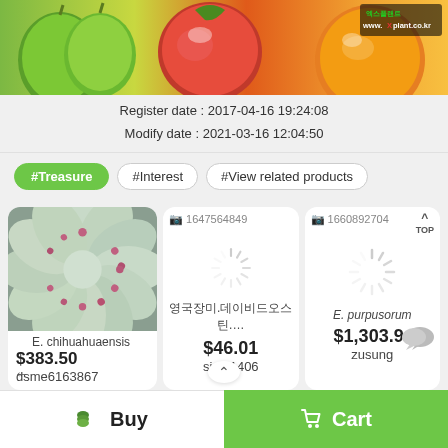[Figure (photo): Banner image with fruits: green apples, tomatoes, oranges, and vegetables with xplant.co.kr watermark]
Register date : 2017-04-16 19:24:08
Modify date : 2021-03-16 12:04:50
#Treasure
#Interest
#View related products
[Figure (photo): E. chihuahuaensis succulent plant close-up photo showing rosette with pink-tipped leaves]
E. chihuahuaensis
$383.50
dsme6163867
[Figure (photo): Product image placeholder with loading spinner, ID 1647564849]
영국장미.데이비드오스틴.…
$46.01
sinla1406
[Figure (photo): Product image placeholder with loading spinner, ID 1660892704]
E. purpusorum
$1,303.90
zusung